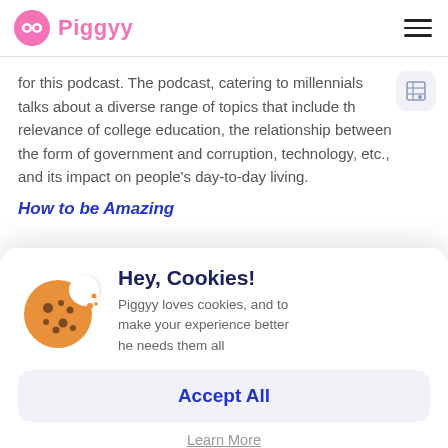Piggyy
for this podcast. The podcast, catering to millennials, talks about a diverse range of topics that include the relevance of college education, the relationship between the form of government and corruption, technology, etc., and its impact on people's day-to-day living.
How to be Amazing
[Figure (screenshot): Cookie consent dialog popup with a cookie illustration, title 'Hey, Cookies!', description text, Accept All button, and Learn More link]
Hey, Cookies!
Piggyy loves cookies, and to make your experience better he needs them all
Accept All
Learn More